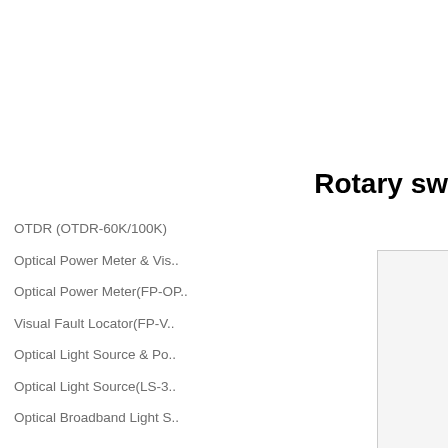Rotary sw
OTDR (OTDR-60K/100K)
Optical Power Meter & Vis..
Optical Power Meter(FP-OP..
Visual Fault Locator(FP-V..
Optical Light Source & Po..
Optical Light Source(LS-3..
Optical Broadband Light S..